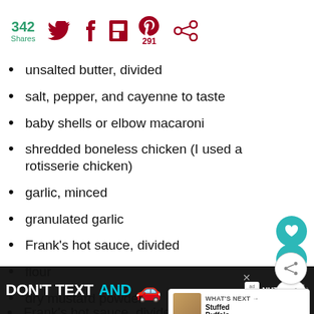342 Shares [Twitter] [Facebook] [Flipboard] [Pinterest 291] [Other]
unsalted butter, divided
salt, pepper, and cayenne to taste
baby shells or elbow macaroni
shredded boneless chicken (I used a rotisserie chicken)
garlic, minced
granulated garlic
Frank's hot sauce, divided
flour
dry mustard powder
milk or half and half  heavy cream
DON'T TEXT AND [car emoji] ad NHTSA [close]